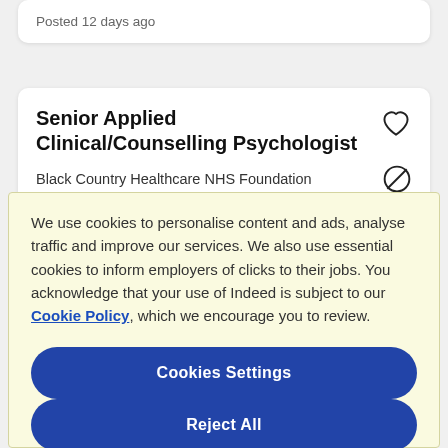Posted 12 days ago
Senior Applied Clinical/Counselling Psychologist
Black Country Healthcare NHS Foundation
We use cookies to personalise content and ads, analyse traffic and improve our services. We also use essential cookies to inform employers of clicks to their jobs. You acknowledge that your use of Indeed is subject to our Cookie Policy, which we encourage you to review.
Cookies Settings
Reject All
Accept All Cookies